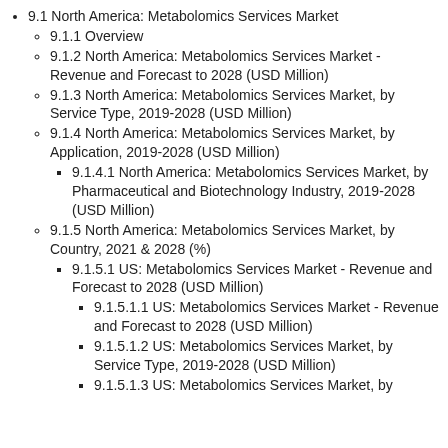9.1 North America: Metabolomics Services Market
9.1.1 Overview
9.1.2 North America: Metabolomics Services Market - Revenue and Forecast to 2028 (USD Million)
9.1.3 North America: Metabolomics Services Market, by Service Type, 2019-2028 (USD Million)
9.1.4 North America: Metabolomics Services Market, by Application, 2019-2028 (USD Million)
9.1.4.1 North America: Metabolomics Services Market, by Pharmaceutical and Biotechnology Industry, 2019-2028 (USD Million)
9.1.5 North America: Metabolomics Services Market, by Country, 2021 & 2028 (%)
9.1.5.1 US: Metabolomics Services Market - Revenue and Forecast to 2028 (USD Million)
9.1.5.1.1 US: Metabolomics Services Market - Revenue and Forecast to 2028 (USD Million)
9.1.5.1.2 US: Metabolomics Services Market, by Service Type, 2019-2028 (USD Million)
9.1.5.1.3 US: Metabolomics Services Market, by